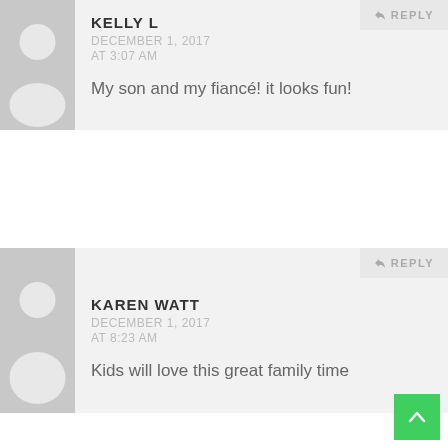[Figure (illustration): Generic user avatar silhouette on grey background for Kelly L comment]
REPLY
KELLY L
DECEMBER 1, 2017 AT 3:07 AM
My son and my fiancé! it looks fun!
[Figure (illustration): Generic user avatar silhouette on grey background for Karen Watt comment]
REPLY
KAREN WATT
DECEMBER 1, 2017 AT 8:23 AM
Kids will love this great family time